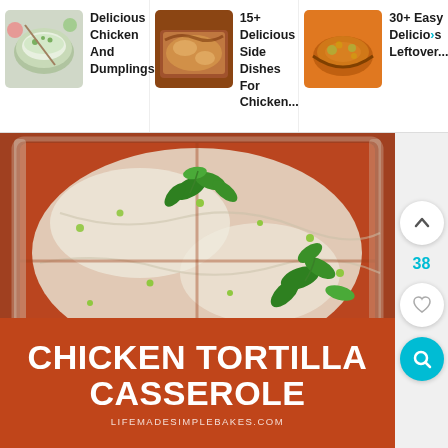[Figure (screenshot): Top navigation bar with three recipe thumbnails: 'Delicious Chicken And Dumplings...', '15+ Delicious Side Dishes For Chicken...', '30+ Easy Delicious Leftover...']
[Figure (photo): Close-up photo of a chicken tortilla casserole in a baking dish, topped with melted white cheese, green cilantro leaves, and sliced green onions, with red enchilada sauce visible around the edges.]
CHICKEN TORTILLA CASSEROLE
LIFEMADESIMPLEBAKES.COM